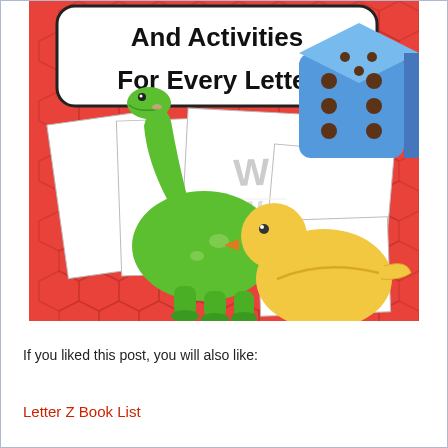[Figure (illustration): Educational book cover image showing cartoon dinosaur (green brontosaurus), yellow duck, blue dice with brown dots, and letter worksheets with the letter W. Red geometric hexagon pattern background. Title text 'And Activities For Every Letter' in black on white rounded rectangle at top.]
If you liked this post, you will also like:
Letter Z Book List